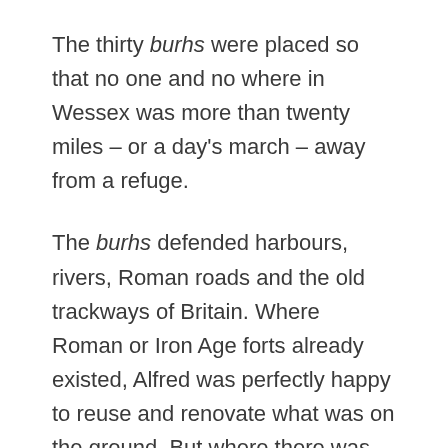The thirty burhs were placed so that no one and no where in Wessex was more than twenty miles – or a day's march – away from a refuge.
The burhs defended harbours, rivers, Roman roads and the old trackways of Britain. Where Roman or Iron Age forts already existed, Alfred was perfectly happy to reuse and renovate what was on the ground. But where there was nothing he built from scratch. Although we don't know for certain, it seems likely that Alfred made use of his new standing army in the construction of the burhs. As any commander knows, keeping bored men occupied and out of mischief is difficult. Digging ditches and raising palisades ensured